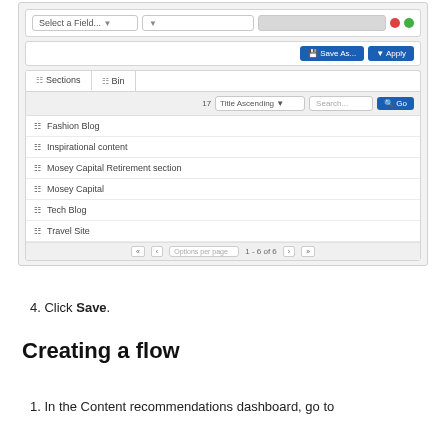[Figure (screenshot): A content recommendations dashboard UI showing a filter row with 'Select a Field...' dropdown, action buttons 'Save As...' and 'Apply', tabs for 'Sections' and 'Bin', a sortable list with 'Title Ascending' sort, Search box and Go button, and list items: Fashion Blog, Inspirational content, Mosey Capital Retirement section, Mosey Capital, Tech Blog, Travel Site, with pagination showing 1-6 of 6.]
4. Click Save.
Creating a flow
1. In the Content recommendations dashboard, go to